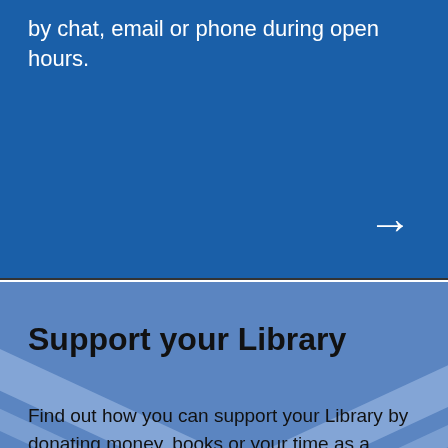by chat, email or phone during open hours.
[Figure (illustration): White right-pointing arrow on dark blue background (top panel navigation arrow)]
Support your Library
Find out how you can support your Library by donating money, books or your time as a volunteer.
[Figure (illustration): Black right-pointing arrow on blue background (bottom panel navigation arrow)]